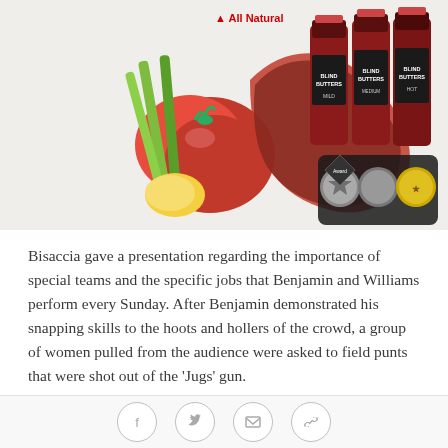[Figure (photo): Product photo showing sauce bottles labeled 'Blind Butters' in Mild, Medium, and Hot varieties, alongside fresh vegetables (tomatoes, celery, lemon) with an 'All Natural' label and award medallions.]
Bisaccia gave a presentation regarding the importance of special teams and the specific jobs that Benjamin and Williams perform every Sunday. After Benjamin demonstrated his snapping skills to the hoots and hollers of the crowd, a group of women pulled from the audience were asked to field punts that were shot out of the 'Jugs' gun.
After a brief tutorial from Williams, the leading punt returner in Buccaneer history, the women were ready to test their own hands. Murphy was the first up and she nailed it, fielding the ball cleanly, albeit with a
Social share icons: Facebook, Twitter, Email, Link